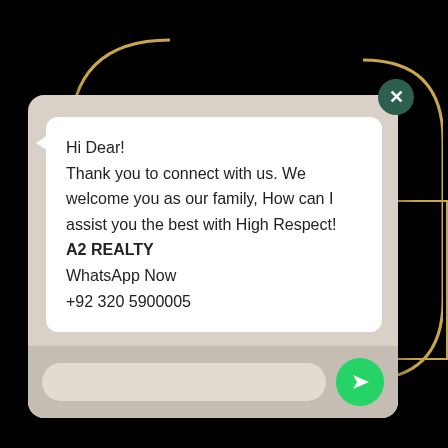[Figure (screenshot): WhatsApp chat popup widget over a dark background with gold arc decorations. The chat bubble reads: Hi Dear! Thank you to connect with us. We welcome you as our family, How can I assist you the best with High Respect! A2 REALTY WhatsApp Now +92 320 5900005. A dark teal close button (X) is at top-right of the popup. The footer has an input field and a green send button.]
Hi Dear!
Thank you to connect with us. We welcome you as our family, How can I assist you the best with High Respect!
A2 REALTY
WhatsApp Now
+92 320 5900005
nent
ith 100%
vestment in